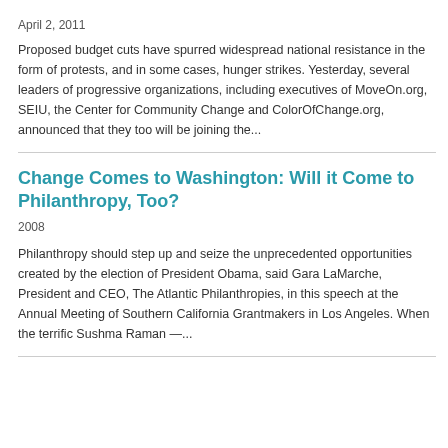April 2, 2011
Proposed budget cuts have spurred widespread national resistance in the form of protests, and in some cases, hunger strikes. Yesterday, several leaders of progressive organizations, including executives of MoveOn.org, SEIU, the Center for Community Change and ColorOfChange.org, announced that they too will be joining the...
Change Comes to Washington: Will it Come to Philanthropy, Too?
2008
Philanthropy should step up and seize the unprecedented opportunities created by the election of President Obama, said Gara LaMarche, President and CEO, The Atlantic Philanthropies, in this speech at the Annual Meeting of Southern California Grantmakers in Los Angeles. When the terrific Sushma Raman —...